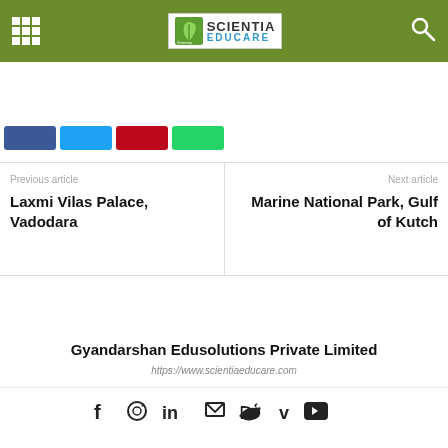Scientia Educare — Gyandarshan Edusolutions Private Limited
[Figure (logo): Scientia Educare logo with green leaf icon, grid menu icon on left, search icon on right, on olive/dark-green background bar]
[Figure (infographic): Social share buttons: Facebook (blue), Twitter (cyan), Pinterest (red), WhatsApp (green)]
Previous article
Laxmi Vilas Palace, Vadodara
Next article
Marine National Park, Gulf of Kutch
Gyandarshan Edusolutions Private Limited
https://www.scientiaeducare.com
[Figure (infographic): Footer social media icons: Facebook, Instagram, LinkedIn, Email, Twitter, Vimeo, YouTube]